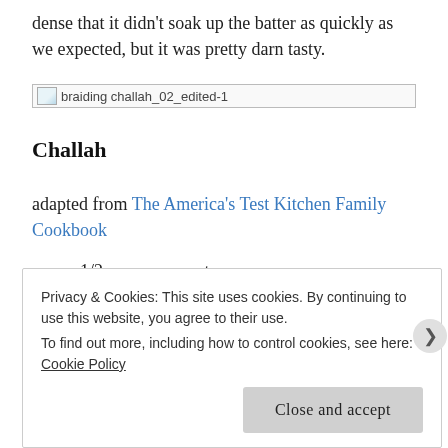dense that it didn't soak up the batter as quickly as we expected, but it was pretty darn tasty.
[Figure (photo): Broken image placeholder with alt text 'braiding challah_02_edited-1']
Challah
adapted from The America's Test Kitchen Family Cookbook
1/2 cup warm water
Privacy & Cookies: This site uses cookies. By continuing to use this website, you agree to their use.
To find out more, including how to control cookies, see here: Cookie Policy